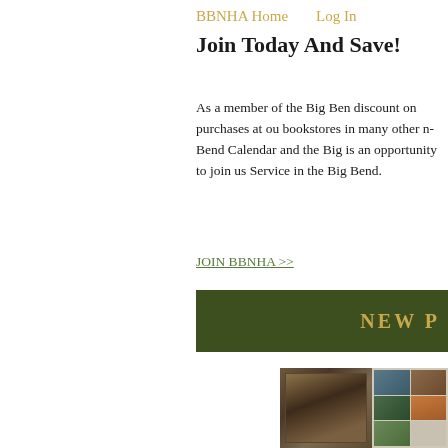BBNHA Home   Log In
Join Today And Save!
As a member of the Big Bend... discount on purchases at our bookstores in many other n... Bend Calendar and the Big... is an opportunity to join us... Service in the Big Bend.
JOIN BBNHA >>
[Figure (other): Dark olive green banner with gold text reading 'NEW P...' (truncated)]
[Figure (photo): Product image showing what appears to be a Big Bend calendar with a cave/canyon photo on the left and a grid of landscape thumbnail photos on the right]